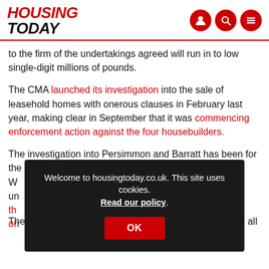HOUSING TODAY
to the firm of the undertakings agreed will run in to low single-digit millions of pounds.
The CMA launched its investigation into the sale of leasehold homes with onerous clauses in February last year, making clear in September that it was commencing enforcement action against the four housebuilders.
The investigation into Persimmon and Barratt has been for the po... W... ly un... th... on...
Welcome to housingtoday.co.uk. This site uses cookies. Read our policy.
The CMA said the investors now being investigated had all